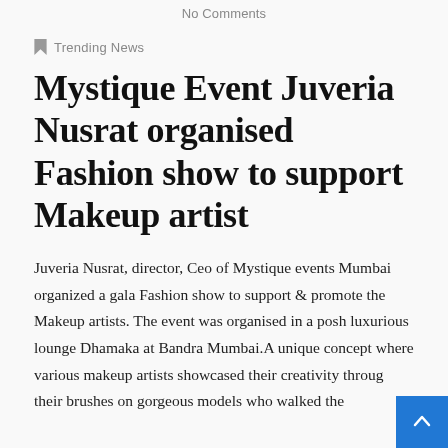No Comments
Trending News
Mystique Event Juveria Nusrat organised Fashion show to support Makeup artist
Juveria Nusrat, director, Ceo of Mystique events Mumbai organized a gala Fashion show to support & promote the Makeup artists. The event was organised in a posh luxurious lounge Dhamaka at Bandra Mumbai.A unique concept where various makeup artists showcased their creativity through their brushes on gorgeous models who walked the